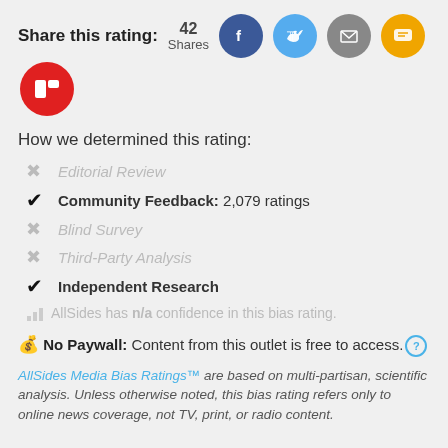Share this rating: 42 Shares
[Figure (infographic): Social share icons: Facebook (blue), Twitter (light blue), Email (grey), SMS (yellow), Flipboard (red)]
How we determined this rating:
✗ Editorial Review (inactive/grey)
✔ Community Feedback: 2,079 ratings
✗ Blind Survey (inactive/grey)
✗ Third-Party Analysis (inactive/grey)
✔ Independent Research
AllSides has n/a confidence in this bias rating.
💰 No Paywall: Content from this outlet is free to access. (?)
AllSides Media Bias Ratings™ are based on multi-partisan, scientific analysis. Unless otherwise noted, this bias rating refers only to online news coverage, not TV, print, or radio content.